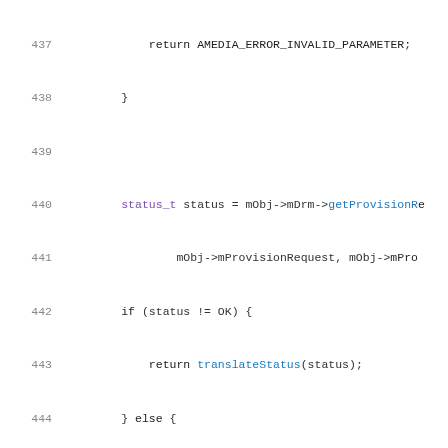Source code listing, lines 437-458, C++ code for AMediaDrm provision functions